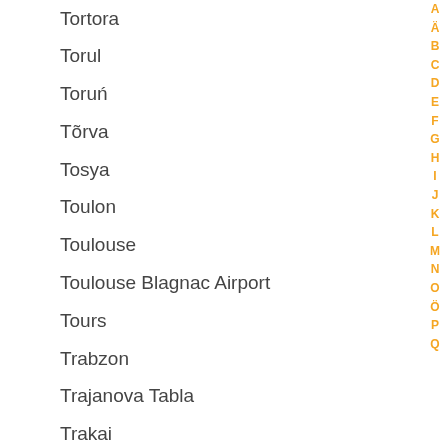Tortora
Torul
Toruń
Tõrva
Tosya
Toulon
Toulouse
Toulouse Blagnac Airport
Tours
Trabzon
Trajanova Tabla
Trakai
Travnik
Třebíč
Trebinje